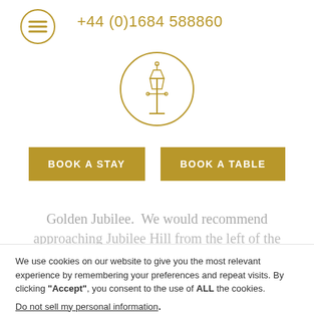+44 (0)1684 588860
[Figure (logo): Circular logo with a street lamp icon in gold outline]
BOOK A STAY
BOOK A TABLE
Golden Jubilee.  We would recommend approaching Jubilee Hill from the left of the
We use cookies on our website to give you the most relevant experience by remembering your preferences and repeat visits. By clicking “Accept”, you consent to the use of ALL the cookies.
Do not sell my personal information.
Settings
I agree